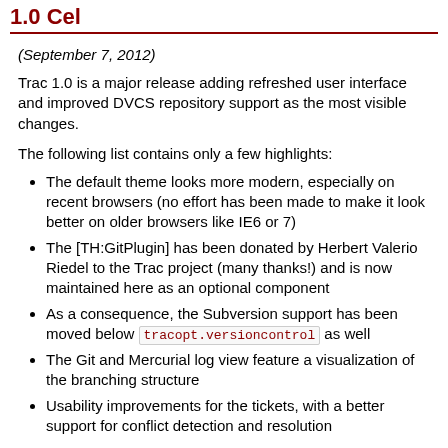1.0 Cel
(September 7, 2012)
Trac 1.0 is a major release adding refreshed user interface and improved DVCS repository support as the most visible changes.
The following list contains only a few highlights:
The default theme looks more modern, especially on recent browsers (no effort has been made to make it look better on older browsers like IE6 or 7)
The [TH:GitPlugin] has been donated by Herbert Valerio Riedel to the Trac project (many thanks!) and is now maintained here as an optional component
As a consequence, the Subversion support has been moved below tracopt.versioncontrol as well
The Git and Mercurial log view feature a visualization of the branching structure
Usability improvements for the tickets, with a better support for conflict detection and resolution